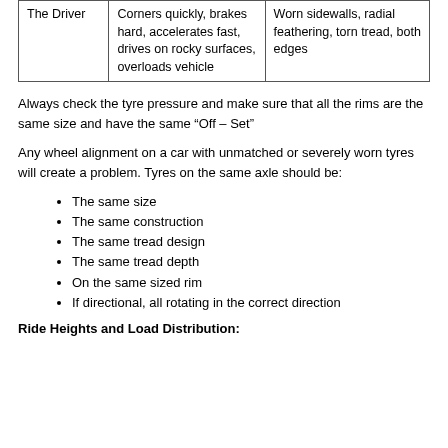| The Driver | Corners quickly, brakes hard, accelerates fast, drives on rocky surfaces, overloads vehicle | Worn sidewalls, radial feathering, torn tread, both edges |
Always check the tyre pressure and make sure that all the rims are the same size and have the same “Off – Set”
Any wheel alignment on a car with unmatched or severely worn tyres will create a problem. Tyres on the same axle should be:
The same size
The same construction
The same tread design
The same tread depth
On the same sized rim
If directional, all rotating in the correct direction
Ride Heights and Load Distribution: